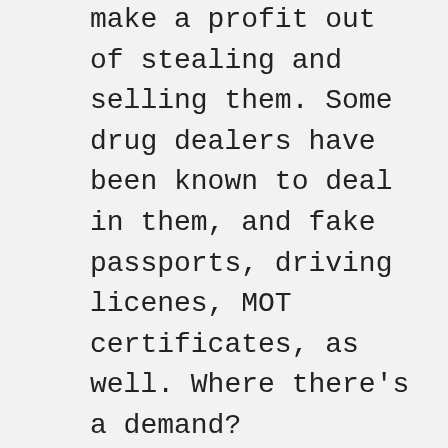make a profit out of stealing and selling them. Some drug dealers have been known to deal in them, and fake passports, driving licenes, MOT certificates, as well. Where there's a demand? The first burglat that shot me, only with a 22, had stolen it from his dad. If I remember rightly, he got 6-months probation and a £50 fine... which his Dad paid for him on the court day. Dad got a £250 fine, for keeping the weapon securly in a safe place. Our majiostrates must put the fear